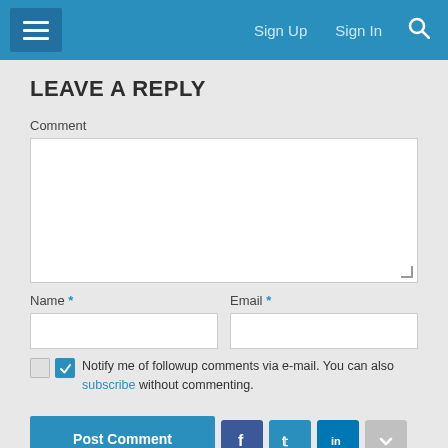≡  Sign Up  Sign In  🔍
LEAVE A REPLY
Comment
Name *
Email *
Notify me of followup comments via e-mail. You can also subscribe without commenting.